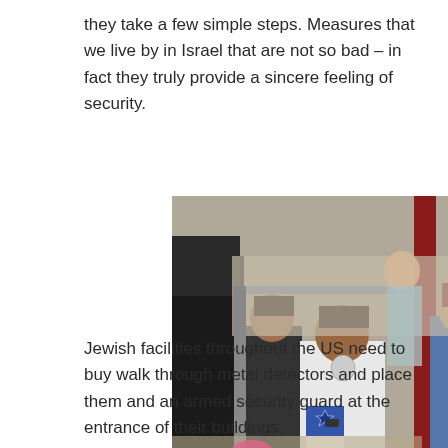they take a few simple steps. Measures that we live by in Israel that are not so bad – in fact they truly provide a sincere feeling of security.
[Figure (photo): Children passing through a metal detector security checkpoint, with adults nearby. A child in the center wears a white t-shirt with a logo and carries a bag with the Israeli flag (Star of David). Other children and adults are visible in the background.]
Jewish facilities throughout the US need to buy walk through metal detectors and place them and an armed security guard at the entrance of their buildings.